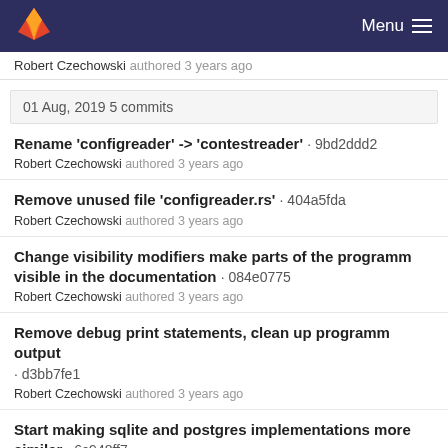GitLab — Menu
Robert Czechowski authored 3 years ago
01 Aug, 2019 5 commits
Rename 'configreader' -> 'contestreader' · 9bd2ddd2
Robert Czechowski authored 3 years ago
Remove unused file 'configreader.rs' · 404a5fda
Robert Czechowski authored 3 years ago
Change visibility modifiers make parts of the programm visible in the documentation · 084e0775
Robert Czechowski authored 3 years ago
Remove debug print statements, clean up programm output · d3bb7fe1
Robert Czechowski authored 3 years ago
Start making sqlite and postgres implementations more similar · 6c948ff7